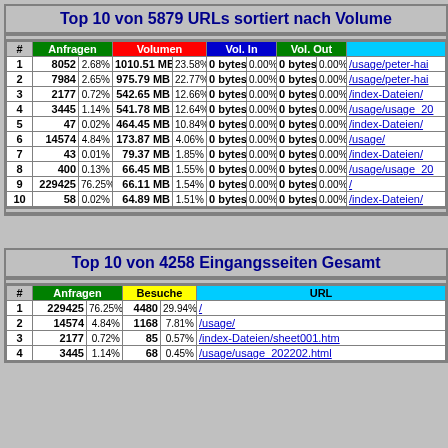Top 10 von 5879 URLs sortiert nach Volume
| # | Anfragen |  | Volumen |  | Vol. In |  | Vol. Out |  | URL |
| --- | --- | --- | --- | --- | --- | --- | --- | --- | --- |
| 1 | 8052 | 2.68% | 1010.51 MB | 23.58% | 0 bytes | 0.00% | 0 bytes | 0.00% | /usage/peter-hai |
| 2 | 7984 | 2.65% | 975.79 MB | 22.77% | 0 bytes | 0.00% | 0 bytes | 0.00% | /usage/peter-hai |
| 3 | 2177 | 0.72% | 542.65 MB | 12.66% | 0 bytes | 0.00% | 0 bytes | 0.00% | /index-Dateien/ |
| 4 | 3445 | 1.14% | 541.78 MB | 12.64% | 0 bytes | 0.00% | 0 bytes | 0.00% | /usage/usage_20 |
| 5 | 47 | 0.02% | 464.45 MB | 10.84% | 0 bytes | 0.00% | 0 bytes | 0.00% | /index-Dateien/ |
| 6 | 14574 | 4.84% | 173.87 MB | 4.06% | 0 bytes | 0.00% | 0 bytes | 0.00% | /usage/ |
| 7 | 43 | 0.01% | 79.37 MB | 1.85% | 0 bytes | 0.00% | 0 bytes | 0.00% | /index-Dateien/ |
| 8 | 400 | 0.13% | 66.45 MB | 1.55% | 0 bytes | 0.00% | 0 bytes | 0.00% | /usage/usage_20 |
| 9 | 229425 | 76.25% | 66.11 MB | 1.54% | 0 bytes | 0.00% | 0 bytes | 0.00% | / |
| 10 | 58 | 0.02% | 64.89 MB | 1.51% | 0 bytes | 0.00% | 0 bytes | 0.00% | /index-Dateien/ |
Top 10 von 4258 Eingangsseiten Gesamt
| # | Anfragen |  | Besuche |  | URL |
| --- | --- | --- | --- | --- | --- |
| 1 | 229425 | 76.25% | 4480 | 29.94% | / |
| 2 | 14574 | 4.84% | 1168 | 7.81% | /usage/ |
| 3 | 2177 | 0.72% | 85 | 0.57% | /index-Dateien/sheet001.htm |
| 4 | 3445 | 1.14% | 68 | 0.45% | /usage/usage_202202.html |